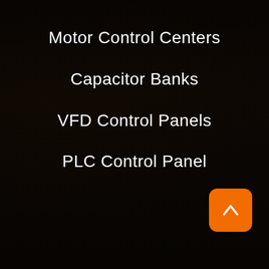Motor Control Centers
Capacitor Banks
VFD Control Panels
PLC Control Panel
[Figure (illustration): Orange rounded square button with white upward chevron arrow, positioned bottom-right corner]